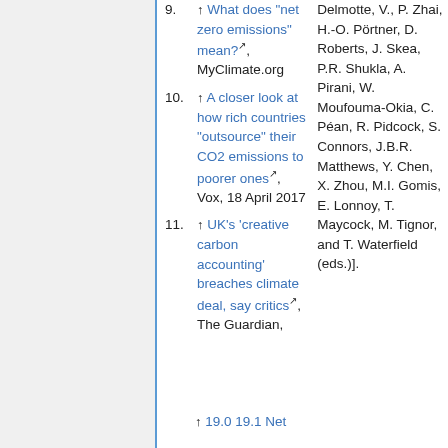9. ↑ What does "net zero emissions" mean?, MyClimate.org
10. ↑ A closer look at how rich countries "outsource" their CO2 emissions to poorer ones, Vox, 18 April 2017
11. ↑ UK's 'creative carbon accounting' breaches climate deal, say critics, The Guardian,
Delmotte, V., P. Zhai, H.-O. Pörtner, D. Roberts, J. Skea, P.R. Shukla, A. Pirani, W. Moufouma-Okia, C. Péan, R. Pidcock, S. Connors, J.B.R. Matthews, Y. Chen, X. Zhou, M.I. Gomis, E. Lonnoy, T. Maycock, M. Tignor, and T. Waterfield (eds.)].
19. ↑ 19.0 19.1 Net